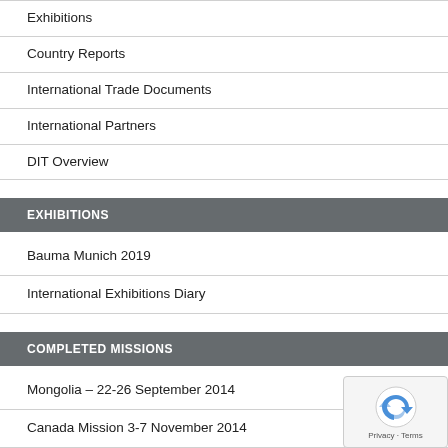Exhibitions
Country Reports
International Trade Documents
International Partners
DIT Overview
EXHIBITIONS
Bauma Munich 2019
International Exhibitions Diary
COMPLETED MISSIONS
Mongolia – 22-26 September 2014
Canada Mission 3-7 November 2014